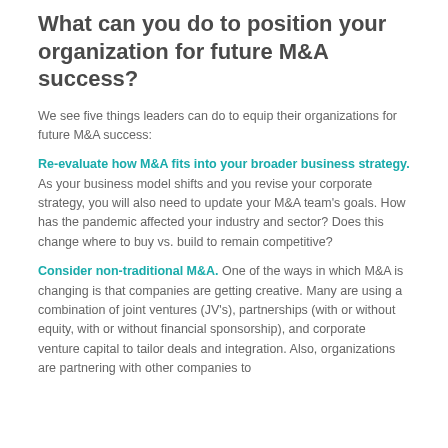What can you do to position your organization for future M&A success?
We see five things leaders can do to equip their organizations for future M&A success:
Re-evaluate how M&A fits into your broader business strategy. As your business model shifts and you revise your corporate strategy, you will also need to update your M&A team's goals. How has the pandemic affected your industry and sector? Does this change where to buy vs. build to remain competitive?
Consider non-traditional M&A. One of the ways in which M&A is changing is that companies are getting creative. Many are using a combination of joint ventures (JV's), partnerships (with or without equity, with or without financial sponsorship), and corporate venture capital to tailor deals and integration. Also, organizations are partnering with other companies to